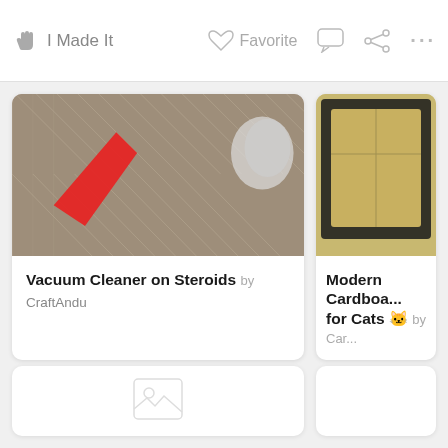I Made It   Favorite   ···
[Figure (screenshot): Screenshot of a website showing two card items: 'Vacuum Cleaner on Steroids by CraftAndu' and a partially visible 'Modern Cardboard ... for Cats' card, plus a loading card below]
Vacuum Cleaner on Steroids by CraftAndu
Modern Cardboard for Cats 🐱 by Caro